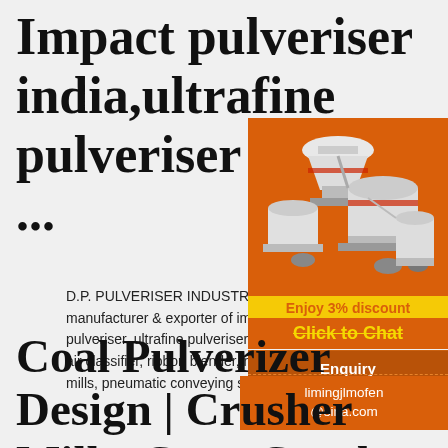Impact pulveriser india,ultrafine pulveriser exporter ...
D.P. PULVERISER INDUSTRIES - Leading manufacturer & exporter of impact pulveriser, pulveriser, ultrafine pulveriser, hammer mill, ja air classifier, ribbon blender, rotary air valve, u mills, pneumatic conveying systems from Indi...
[Figure (illustration): Orange advertisement banner with industrial crusher/mill machinery images, discount text 'Enjoy 3% discount', 'Click to Chat' button, Enquiry section, and email limingjlmofen@sina.com]
Coal Pulverizer Design | Crusher Mills, Cone Crusher,